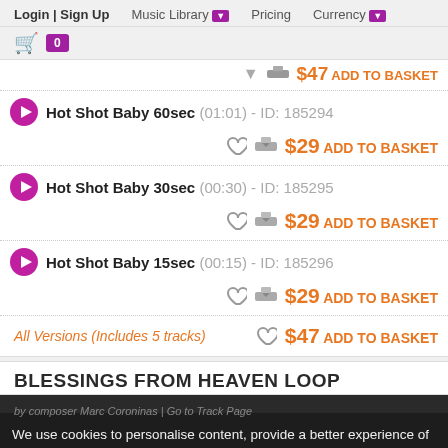Login | Sign Up   Music Library   Pricing   Currency
Hot Shot Baby 60sec (01:01) - ID: 185294  $29 ADD TO BASKET
Hot Shot Baby 30sec (00:30) - ID: 185295  $29 ADD TO BASKET
Hot Shot Baby 15sec (00:15) - ID: 185296  $29 ADD TO BASKET
All Versions (Includes 5 tracks)  $47 ADD TO BASKET
BLESSINGS FROM HEAVEN LOOP
by composer Marc Coroninas | Go to Track Page
We use cookies to personalise content, provide a better experience of our music licensing platform and analyse our traffic. Read our Privacy Policy
relaxing  hopeful
electric piano  synthesizer  strings
romantic  contemplative  discovery  peaceful  sweet  soft